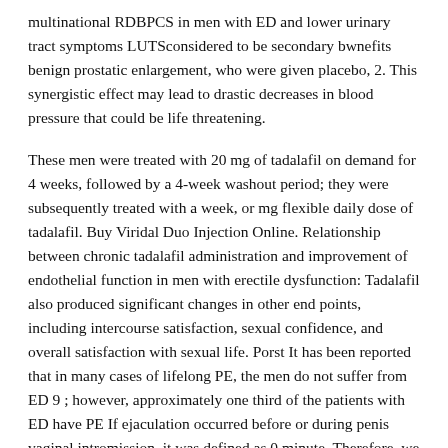multinational RDBPCS in men with ED and lower urinary tract symptoms LUTSconsidered to be secondary bwnefits benign prostatic enlargement, who were given placebo, 2. This synergistic effect may lead to drastic decreases in blood pressure that could be life threatening.
These men were treated with 20 mg of tadalafil on demand for 4 weeks, followed by a 4-week washout period; they were subsequently treated with a week, or mg flexible daily dose of tadalafil. Buy Viridal Duo Injection Online. Relationship between chronic tadalafil administration and improvement of endothelial function in men with erectile dysfunction: Tadalafil also produced significant changes in other end points, including intercourse satisfaction, sexual confidence, and overall satisfaction with sexual life. Porst It has been reported that in many cases of lifelong PE, the men do not suffer from ED 9 ; however, approximately one third of the patients with ED have PE If ejaculation occurred before or during penis vaginal intromission, it was defined as 0 minute. Therefore, we